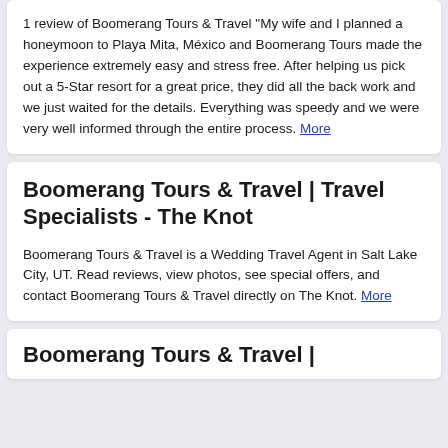1 review of Boomerang Tours & Travel "My wife and I planned a honeymoon to Playa Mita, México and Boomerang Tours made the experience extremely easy and stress free. After helping us pick out a 5-Star resort for a great price, they did all the back work and we just waited for the details. Everything was speedy and we were very well informed through the entire process. More
Boomerang Tours & Travel | Travel Specialists - The Knot
Boomerang Tours & Travel is a Wedding Travel Agent in Salt Lake City, UT. Read reviews, view photos, see special offers, and contact Boomerang Tours & Travel directly on The Knot. More
Boomerang Tours & Travel...